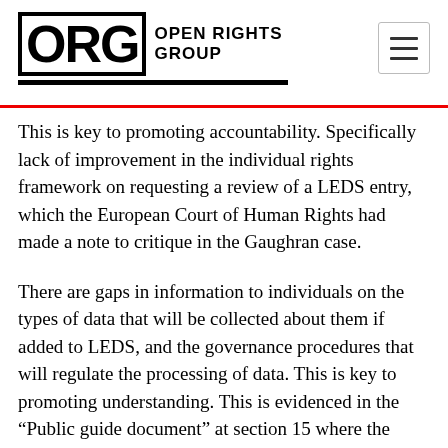ORG OPEN RIGHTS GROUP
This is key to promoting accountability. Specifically lack of improvement in the individual rights framework on requesting a review of a LEDS entry, which the European Court of Human Rights had made a note to critique in the Gaughran case.
There are gaps in information to individuals on the types of data that will be collected about them if added to LEDS, and the governance procedures that will regulate the processing of data. This is key to promoting understanding. This is evidenced in the “Public guide document” at section 15 where the types of people are listed but a generic reference to certain types of information that will be held. The types of data listed should be exhaustive, particularly in the